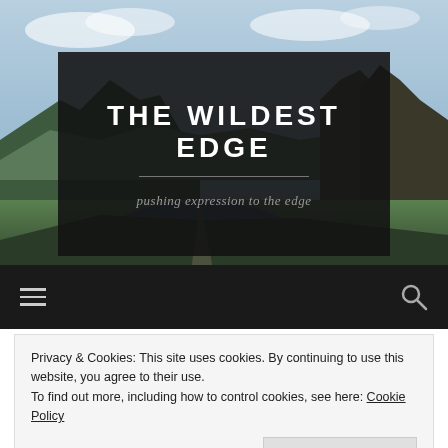[Figure (photo): Aerial landscape photo showing a mountain lake/reservoir with rocky peaks and green hillsides under a partly cloudy sky, serving as hero background for a website]
THE WILDEST EDGE
pushing expression to the edge
[Figure (other): Dark navigation bar with hamburger menu icon on the left and search magnifying glass icon on the right]
Privacy & Cookies: This site uses cookies. By continuing to use this website, you agree to their use.
To find out more, including how to control cookies, see here: Cookie Policy
Close and accept